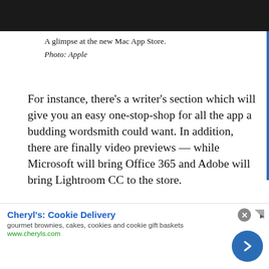[Figure (photo): Dark/black photo bar at the top of the page showing a glimpse of the Mac App Store]
A glimpse at the new Mac App Store.
Photo: Apple
For instance, there’s a writer’s section which will give you an easy one-stop-shop for all the app a budding wordsmith could want. In addition, there are finally video previews — while Microsoft will bring Office 365 and Adobe will bring Lightroom CC to the store.
There’s also a new focus on user reviews, and an added ratings and review API, old make it easier